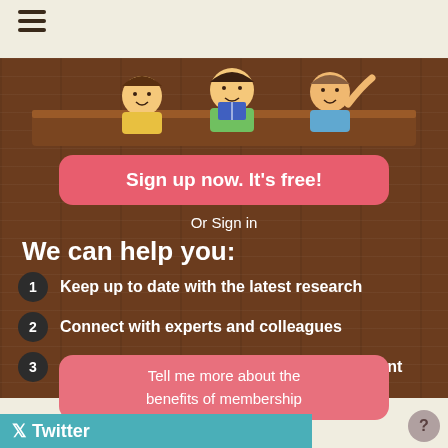[Figure (illustration): Cartoon children peeking over a wooden ledge/table, one in yellow, one in green, one in blue shirt]
Sign up now. It's free!
Or Sign in
We can help you:
Keep up to date with the latest research
Connect with experts and colleagues
Contribute to your professional development
Tell me more about the benefits of membership
Twitter